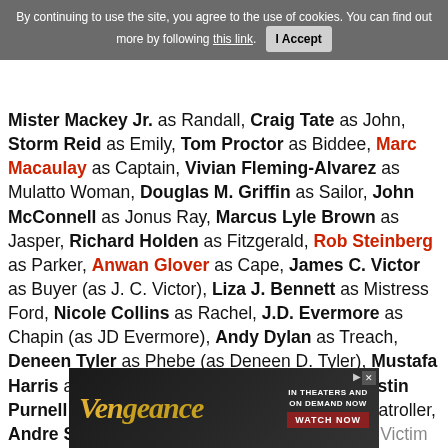By continuing to use the site, you agree to the use of cookies. You can find out more by following this link. [I Accept]
Mister Mackey Jr. as Randall, Craig Tate as John, Storm Reid as Emily, Tom Proctor as Biddee, Marc Macaulay as Captain, Vivian Fleming-Alvarez as Mulatto Woman, Douglas M. Griffin as Sailor, John McConnell as Jonus Ray, Marcus Lyle Brown as Jasper, Richard Holden as Fitzgerald, Rob Steinberg as Parker, Anwan Glover as Cape, James C. Victor as Buyer (as J. C. Victor), Liza J. Bennett as Mistress Ford, Nicole Collins as Rachel, J.D. Evermore as Chapin (as JD Evermore), Andy Dylan as Treach, Deneen Tyler as Phebe (as Deneen D. Tyler), Mustafa Harris as Sam, Gregory Bright as Edward, Austin Purnell as Bob, Thomas Francis Murphy as Patroller, Andre Shanks as Victim 1, Kelvin Harrison as Victim 2, Scott M. Jefferson as Master... [Vengeance ad] ...sy Chap...
[Figure (other): Advertisement banner for 'Vengeance' movie: 'IN THEATERS AND ON DEMAND NOW - WATCH NOW']